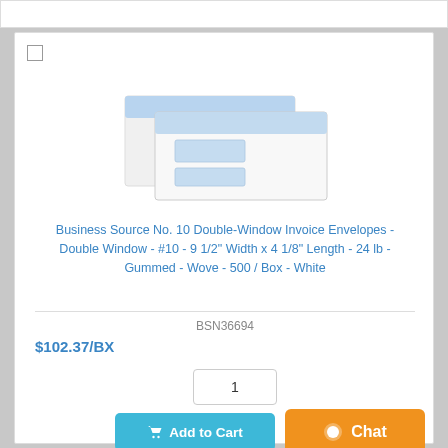[Figure (photo): Product image of Business Source No. 10 Double-Window Invoice Envelopes, showing two white envelopes stacked with blue-tinted double windows]
Business Source No. 10 Double-Window Invoice Envelopes - Double Window - #10 - 9 1/2" Width x 4 1/8" Length - 24 lb - Gummed - Wove - 500 / Box - White
BSN36694
$102.37/BX
1
Add to Cart
Chat